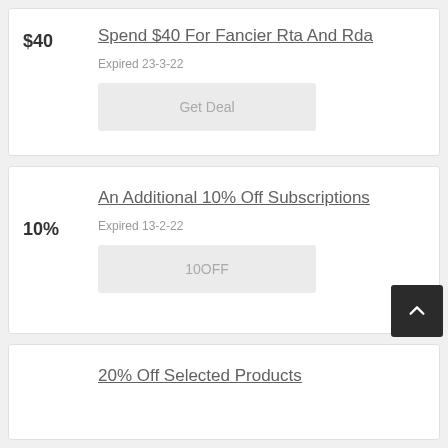Spend $40 For Fancier Rta And Rda
$40
Expired 23-3-22
Get Deal
An Additional 10% Off Subscriptions
10%
Expired 13-2-22
10OFF
20% Off Selected Products